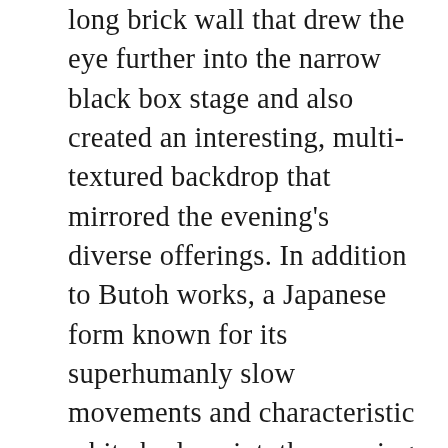long brick wall that drew the eye further into the narrow black box stage and also created an interesting, multi-textured backdrop that mirrored the evening's diverse offerings. In addition to Butoh works, a Japanese form known for its superhumanly slow movements and characteristic white body paint, the evening also featured a wide variety of world music, dance, and spoken word performances.